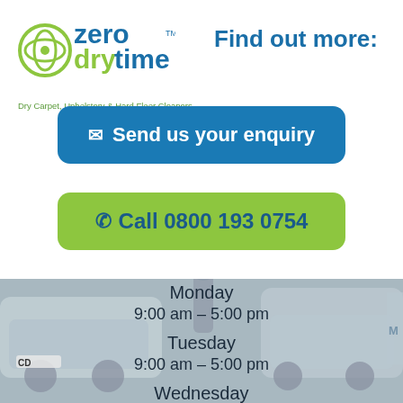[Figure (logo): Zero Dry Time logo with green circular icon and blue/green text, with tagline 'Dry Carpet, Upholstery & Hard Floor Cleaners']
Find out more:
✉ Send us your enquiry
✆ Call 0800 193 0754
[Figure (photo): Background photo of commercial vans/vehicles in a car park]
Monday
9:00 am – 5:00 pm
Tuesday
9:00 am – 5:00 pm
Wednesday
9:00 am – 5:00 pm